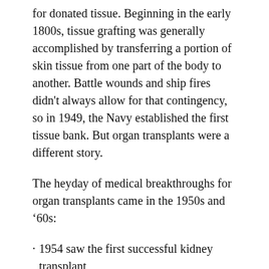for donated tissue. Beginning in the early 1800s, tissue grafting was generally accomplished by transferring a portion of skin tissue from one part of the body to another. Battle wounds and ship fires didn't always allow for that contingency, so in 1949, the Navy established the first tissue bank. But organ transplants were a different story.
The heyday of medical breakthroughs for organ transplants came in the 1950s and ’60s:
1954 saw the first successful kidney transplant
1963, the first liver and lung transplants
1966, the first successful pancreas transplant